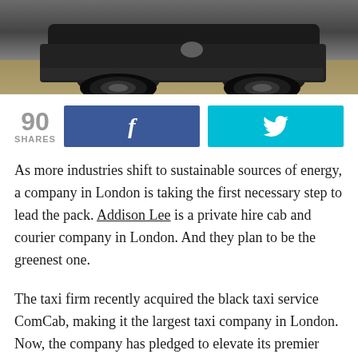[Figure (photo): Bottom portion of a dark luxury/electric car photographed from front-low angle on a gravel surface]
90 SHARES
[Figure (infographic): Social share buttons: Facebook (blue, f icon) and Twitter (cyan, bird icon) with share count of 90]
As more industries shift to sustainable sources of energy, a company in London is taking the first necessary step to lead the pack. Addison Lee is a private hire cab and courier company in London. And they plan to be the greenest one.
The taxi firm recently acquired the black taxi service ComCab, making it the largest taxi company in London. Now, the company has pledged to elevate its premier service even further. They'll do it by converting its whole passenger car fleet into electric vehicles by 2023. To do so, Addison Lee intends to work with vehicle manufacturer Volkswagen to switch over to electric